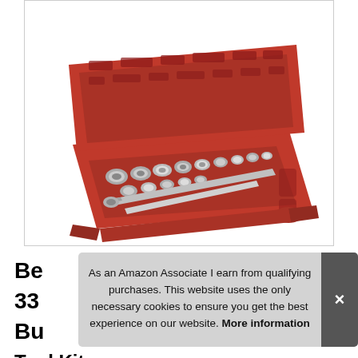[Figure (photo): A red tool kit case opened, containing multiple silver socket wrenches, extensions, and other tools arranged in a red molded plastic carrying case.]
Be
33
Bu
Tool Kit
As an Amazon Associate I earn from qualifying purchases. This website uses the only necessary cookies to ensure you get the best experience on our website. More information